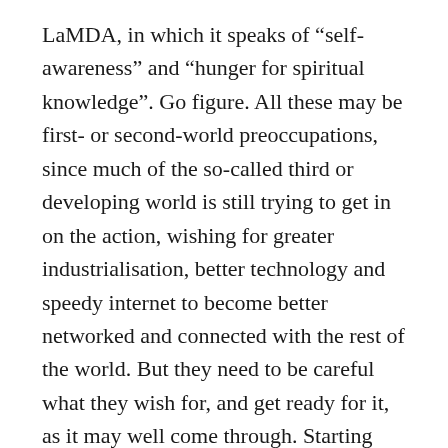LaMDA, in which it speaks of “self-awareness” and “hunger for spiritual knowledge”. Go figure. All these may be first- or second-world preoccupations, since much of the so-called third or developing world is still trying to get in on the action, wishing for greater industrialisation, better technology and speedy internet to become better networked and connected with the rest of the world. But they need to be careful what they wish for, and get ready for it, as it may well come through. Starting with learning from the failures, as much as from the successes, of the first world so as not to repeat them. We all could start by using technology and connectivity more responsibly, intelligently, and sustainably, building local connections and networks